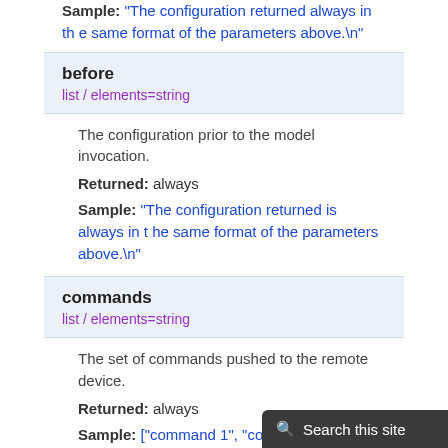Sample: "The configuration returned always in the same format of the parameters above.\n"
before
list / elements=string
The configuration prior to the model invocation.
Returned: always
Sample: "The configuration returned is always in the same format of the parameters above.\n"
commands
list / elements=string
The set of commands pushed to the remote device.
Returned: always
Sample: ["command 1", "command 2", "command 3"]
Authors